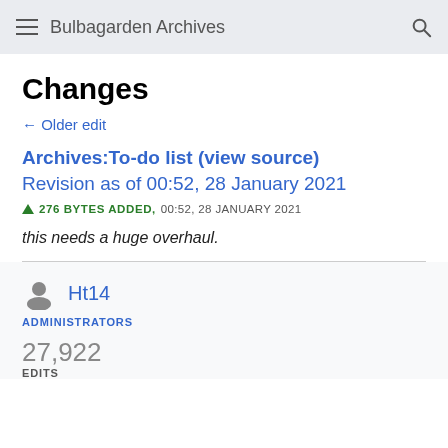Bulbagarden Archives
Changes
← Older edit
Archives:To-do list (view source)
Revision as of 00:52, 28 January 2021
▲ 276 BYTES ADDED,  00:52, 28 JANUARY 2021
this needs a huge overhaul.
Ht14
ADMINISTRATORS
27,922
EDITS